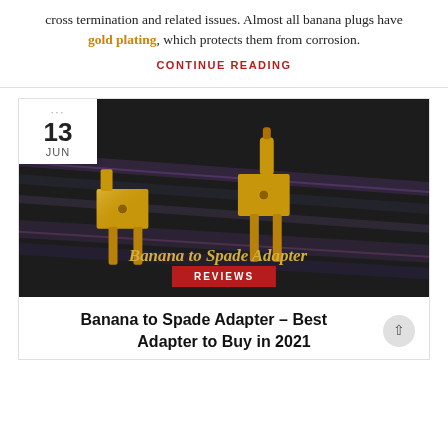cross termination and related issues. Almost all banana plugs have gold plating, which protects them from corrosion.
CONTINUE READING
[Figure (photo): Gold-plated banana to spade adapter connectors on a dark background with cables. Date badge shows 13 JUN. Title overlay reads 'Banana to Spade Adapter' in gold italic text. Red 'REVIEWS' badge at bottom center.]
Banana to Spade Adapter – Best Adapter to Buy in 2021